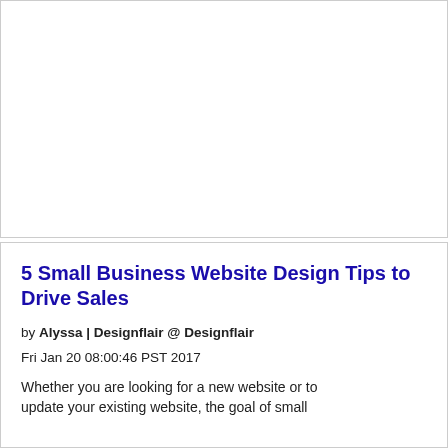[Figure (other): Large white/blank rectangular area, bordered, serving as an advertisement or image placeholder at the top of the page.]
5 Small Business Website Design Tips to Drive Sales
by Alyssa | Designflair @ Designflair
Fri Jan 20 08:00:46 PST 2017
Whether you are looking for a new website or to update your existing website, the goal of small